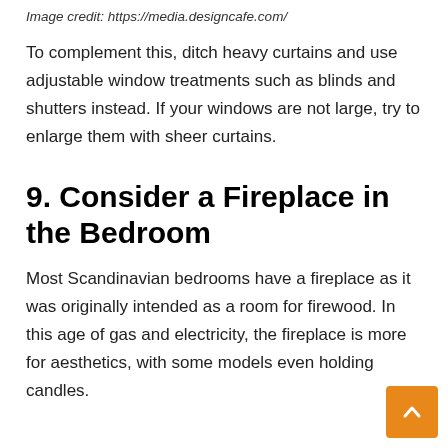Image credit: https://media.designcafe.com/
To complement this, ditch heavy curtains and use adjustable window treatments such as blinds and shutters instead. If your windows are not large, try to enlarge them with sheer curtains.
9. Consider a Fireplace in the Bedroom
Most Scandinavian bedrooms have a fireplace as it was originally intended as a room for firewood. In this age of gas and electricity, the fireplace is more for aesthetics, with some models even holding candles.